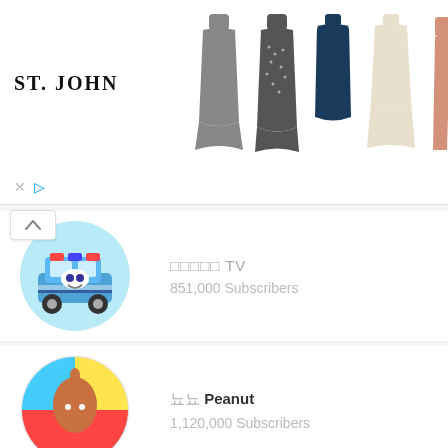[Figure (screenshot): ST. JOHN advertisement banner with clothing items: gray turtleneck, patterned turtleneck, navy vest, cream dress, pink pants]
[Figure (illustration): Animated police car avatar (Robocar Poli style) in a circular frame]
□□□□□ TV
851,000 Subscribers
[Figure (illustration): Colorful cartoon character with pointing finger in circular frame - 뇨뇨 Peanut]
뇨뇨 Peanut
1,120,000 Subscribers
[Figure (illustration): Cartoon mouse/character illustration in circular frame]
□□□ □□□
389,000 Subscribers
[Figure (illustration): Teal/green logo with UU symbol in circular frame - Geekble]
□□ Geekble
935,000 Subscribers